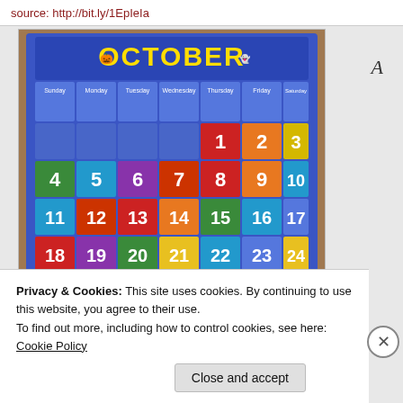source: http://bit.ly/1EpIeIa
[Figure (photo): A children's classroom pocket chart calendar for October. Blue fabric background with colorful numbered pockets arranged in a 7-column grid (Sunday through Saturday). The header reads 'OCTOBER' in large yellow letters with Halloween decorations. Each day of the week has a cartoon child icon. Numbered date cards 1-31 in various colors (red, green, blue, purple, orange, yellow, teal) fill the pockets. The 31st pocket has a Halloween jack-o-lantern design.]
A
Privacy & Cookies: This site uses cookies. By continuing to use this website, you agree to their use.
To find out more, including how to control cookies, see here: Cookie Policy
Close and accept